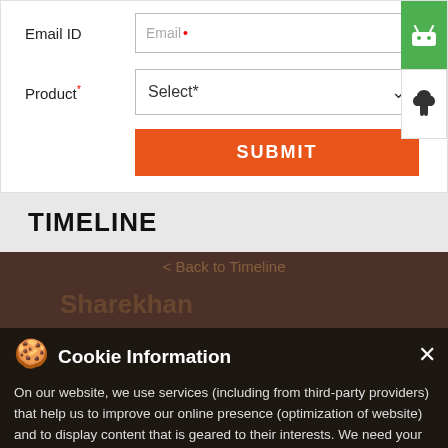Email ID
Email *
Product *
Select*
SUBMIT
TIMELINE
Cookie Information
On our website, we use services (including from third-party providers) that help us to improve our online presence (optimization of website) and to display content that is geared to their interests. We need your consent before being able to use these services.
Book Uber to Sharekhan
T&C Apply